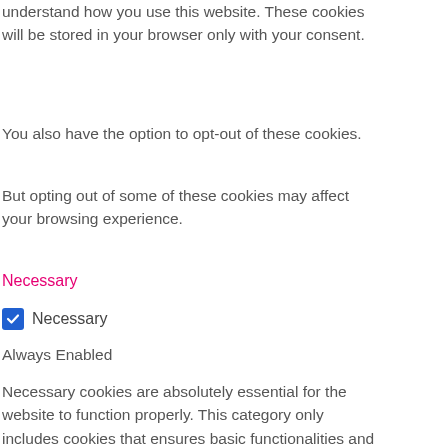understand how you use this website. These cookies will be stored in your browser only with your consent.
You also have the option to opt-out of these cookies.
But opting out of some of these cookies may affect your browsing experience.
Necessary
☑ Necessary
Always Enabled
Necessary cookies are absolutely essential for the website to function properly. This category only includes cookies that ensures basic functionalities and security features of the website. These cookies do not